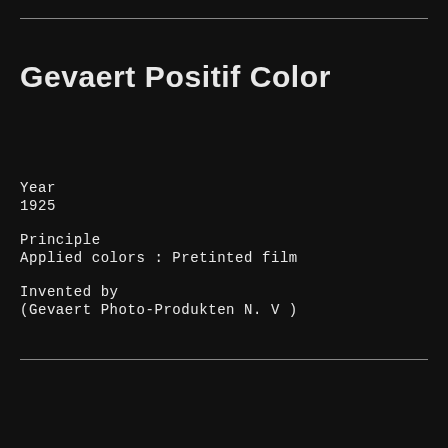Gevaert Positif Color
Year
1925
Principle
Applied colors : Pretinted film
Invented by
(Gevaert Photo-Produkten N. V )